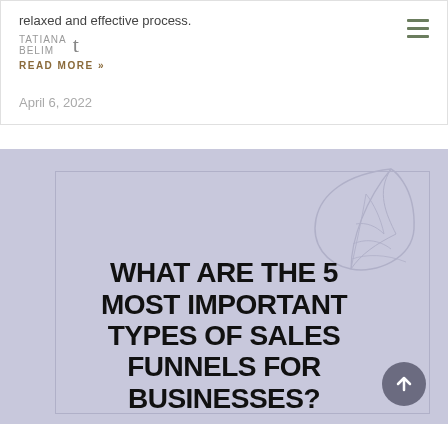relaxed and effective process.
TATIANA BELIM (logo with hamburger menu)
READ MORE »
April 6, 2022
[Figure (illustration): Promotional blog thumbnail image with lavender/purple background, inner frame border, decorative monstera leaf outline in top right corner, and bold black text reading: WHAT ARE THE 5 MOST IMPORTANT TYPES OF SALES FUNNELS FOR BUSINESSES? A circular dark grey scroll-to-top arrow button is in the bottom right corner.]